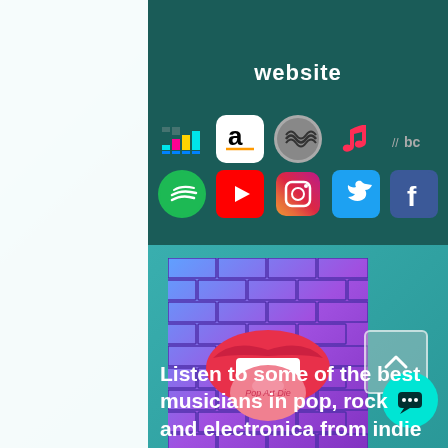website
[Figure (infographic): Row of music/social media service icons: Deezer, Amazon Music, Tidal, Apple Music, Bandcamp (top row); Spotify, YouTube, Instagram, Twitter, Facebook (bottom row)]
[Figure (logo): Pop Art Die logo — lips/mouth with tongue out on a purple/blue brick wall background]
Listen to some of the best musicians in pop, rock and electronica from indie